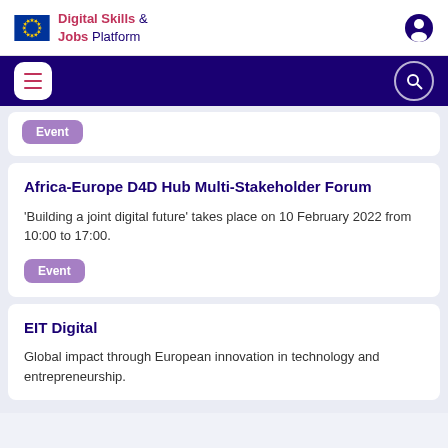Digital Skills & Jobs Platform
Africa-Europe D4D Hub Multi-Stakeholder Forum
'Building a joint digital future' takes place on 10 February 2022 from 10:00 to 17:00.
Event
EIT Digital
Global impact through European innovation in technology and entrepreneurship.